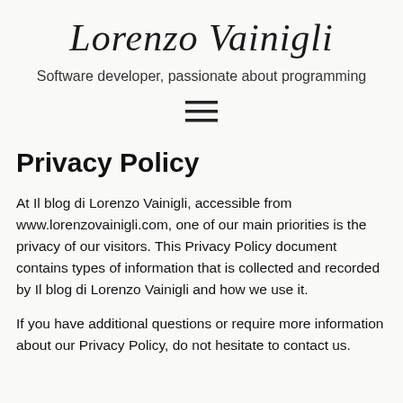Lorenzo Vainigli
Software developer, passionate about programming
[Figure (other): Hamburger menu icon (three horizontal lines)]
Privacy Policy
At Il blog di Lorenzo Vainigli, accessible from www.lorenzovainigli.com, one of our main priorities is the privacy of our visitors. This Privacy Policy document contains types of information that is collected and recorded by Il blog di Lorenzo Vainigli and how we use it.
If you have additional questions or require more information about our Privacy Policy, do not hesitate to contact us.